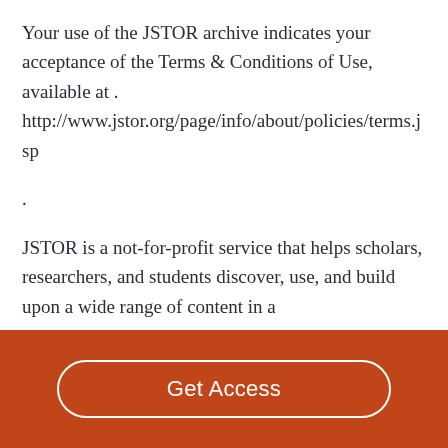Your use of the JSTOR archive indicates your acceptance of the Terms & Conditions of Use, available at . http://www.jstor.org/page/info/about/policies/terms.jsp

.

JSTOR is a not-for-profit service that helps scholars, researchers, and students discover, use, and build upon a wide range of content in a
Get Access